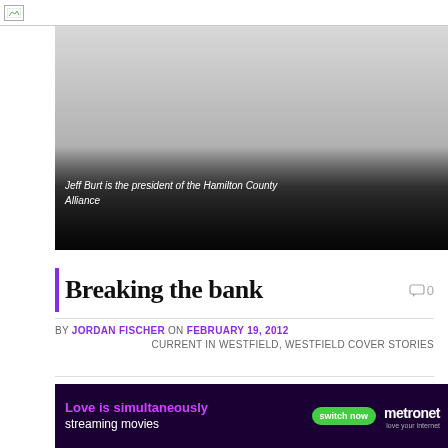[site logo/header bar]
[Figure (photo): Photo of Jeff Burt with a gradient dark overlay at the bottom]
Jeff Burt is the president of the Hamilton County Alliance
Breaking the bank
BY JORDAN FISCHER ON FEBRUARY 19, 2012
CURRENT IN WESTFIELD, WESTFIELD COVER STORIES
[Figure (screenshot): Metronet advertisement: 'Love is simultaneously streaming movies' with switch now button]